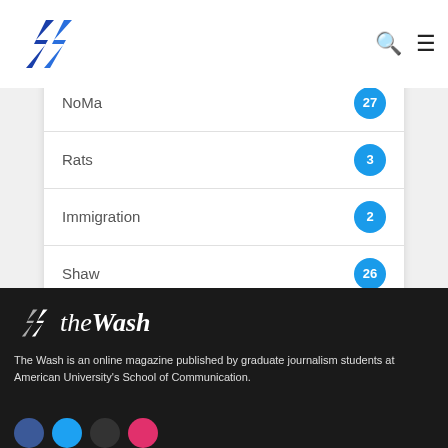theWash logo with navigation icons
NoMa 27
Rats 3
Immigration 2
Shaw 26
[Figure (logo): The Wash logo — white lightning bolt icon with italic 'the Wash' text in white on dark background]
The Wash is an online magazine published by graduate journalism students at American University's School of Communication.